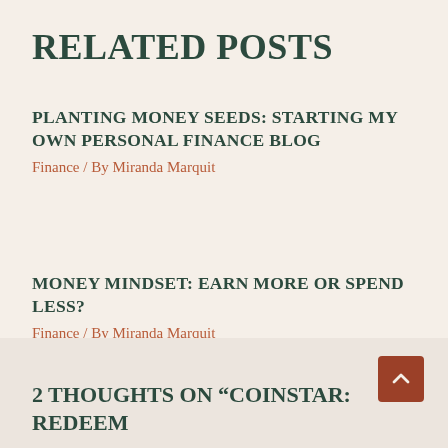RELATED POSTS
PLANTING MONEY SEEDS: STARTING MY OWN PERSONAL FINANCE BLOG
Finance / By Miranda Marquit
MONEY MINDSET: EARN MORE OR SPEND LESS?
Finance / By Miranda Marquit
2 THOUGHTS ON “COINSTAR: REDEEM